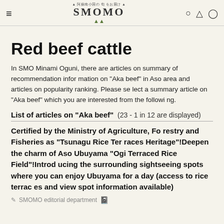SMOMO — 阿蘇南小国の旬をお届け
Red beef cattle
In SMO Minami Oguni, there are articles on summary of recommendation information on "Aka beef" in Aso area and articles on popularity ranking. Please select a summary article on "Aka beef" which you are interested from the following.
List of articles on "Aka beef"   (23 - 1 in 12 are displayed)
Certified by the Ministry of Agriculture, Forestry and Fisheries as "Tsunagu Rice Terraces Heritage"!Deepen the charm of Aso Ubuyama "Ogi Terraced Rice Field"!Introducing the surrounding sightseeing spots where you can enjoy Ubuyama for a day (access to rice terraces and view spot information available)
SMOMO editorial department